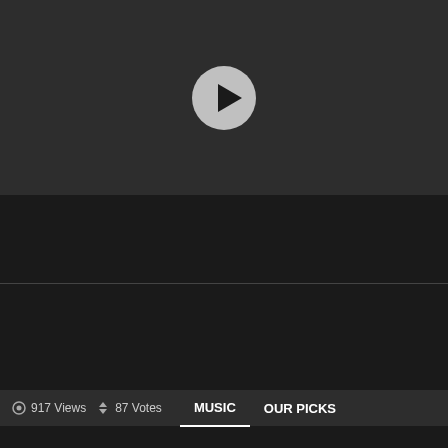[Figure (screenshot): Video player with dark background and circular play button in center]
917 Views  87 Votes  MUSIC  OUR PICKS
General Experience – Marina
+87
MORE FROM: MUSIC
[Figure (screenshot): Bottom strip showing thumbnails of related music content with close button]